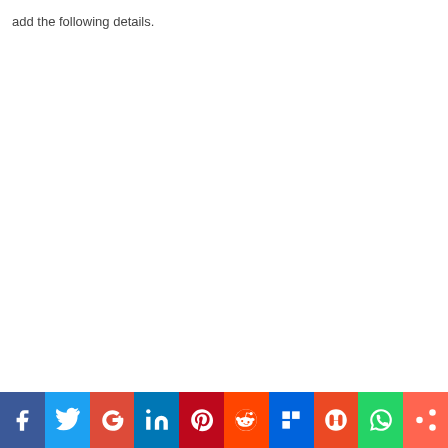add the following details.
[Figure (infographic): Social media sharing bar with icons for Facebook, Twitter, Google+, LinkedIn, Pinterest, Reddit, Flipboard, StumbleUpon, WhatsApp, and Share]